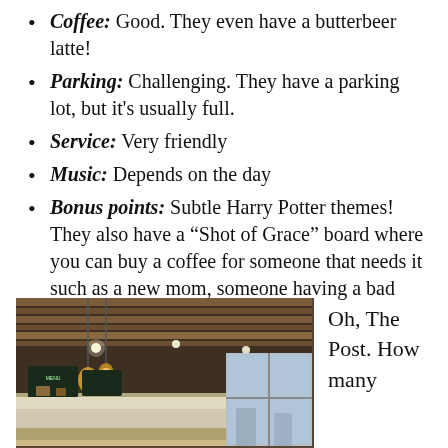Coffee: Good. They even have a butterbeer latte!
Parking: Challenging. They have a parking lot, but it's usually full.
Service: Very friendly
Music: Depends on the day
Bonus points: Subtle Harry Potter themes! They also have a “Shot of Grace” board where you can buy a coffee for someone that needs it such as a new mom, someone having a bad day, a college student etc.
THE POST EAST
[Figure (photo): Interior of The Post East cafe showing warm lighting, hanging pendant lights, wooden ceiling panels, a counter area with chalkboard menus, and windows in the background.]
Oh, The Post. How many